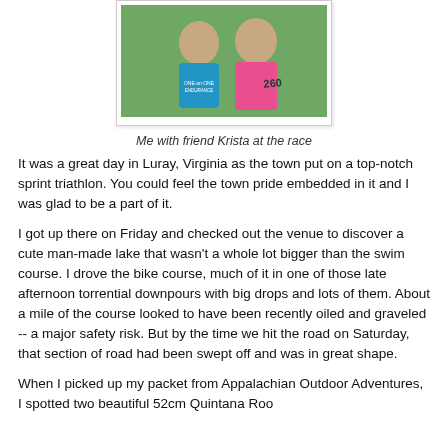[Figure (photo): Two people at a race: one in a blue triathlon top labeled ONE-on-ONE ENDURANCE, one in a pink tank top with '260' written on their arm, standing outdoors in front of green foliage.]
Me with friend Krista at the race
It was a great day in Luray, Virginia as the town put on a top-notch sprint triathlon. You could feel the town pride embedded in it and I was glad to be a part of it.
I got up there on Friday and checked out the venue to discover a cute man-made lake that wasn't a whole lot bigger than the swim course. I drove the bike course, much of it in one of those late afternoon torrential downpours with big drops and lots of them. About a mile of the course looked to have been recently oiled and graveled -- a major safety risk. But by the time we hit the road on Saturday, that section of road had been swept off and was in great shape.
When I picked up my packet from Appalachian Outdoor Adventures, I spotted two beautiful 52cm Quintana Roo